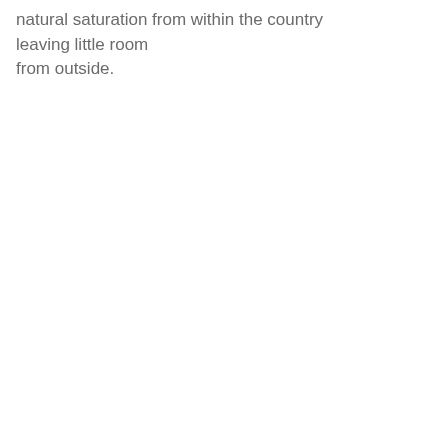natural saturation from within the country leaving little room from outside.